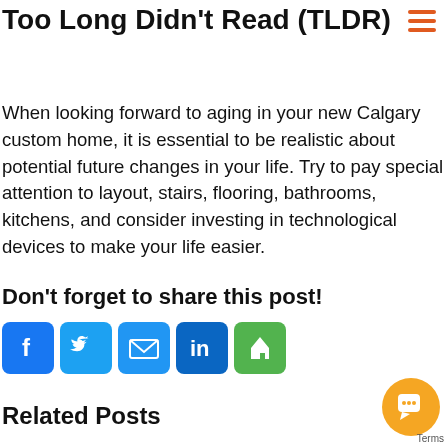Too Long Didn't Read (TLDR)
When looking forward to aging in your new Calgary custom home, it is essential to be realistic about potential future changes in your life. Try to pay special attention to layout, stairs, flooring, bathrooms, kitchens, and consider investing in technological devices to make your life easier.
Don't forget to share this post!
[Figure (infographic): Social sharing icons: Facebook (blue), Twitter (light blue), Email (blue), LinkedIn (dark blue), Houzz (green)]
Related Posts